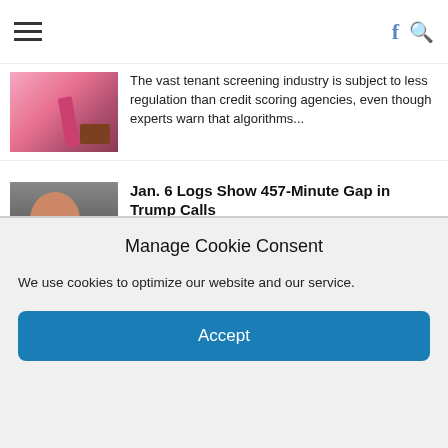Menu | Facebook | Search
The vast tenant screening industry is subject to less regulation than credit scoring agencies, even though experts warn that algorithms...
Jan. 6 Logs Show 457-Minute Gap in Trump Calls
FROM THE WIRE
'Coverup?' "Nixon had an 18.5-minute gap in his White House tapes," noted one watchdog group. "Trump has a 7.5-hour gap...
Maps show – and hide – key information about Ukraine war
FROM THE WIRE
Manage Cookie Consent
We use cookies to optimize our website and our service.
Accept